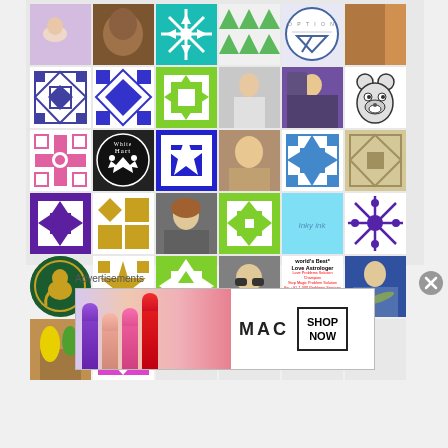[Figure (photo): Grid of 32 thumbnail images including quilt patterns (purple, blue, green, pink, gold, teal, magenta), profile photos of people, a White Hart logo, a bear cartoon, an OPTION badge, a green elephant logo, a love astrologer advertisement, and decorative tiles]
Advertisements
[Figure (photo): MAC cosmetics advertisement banner showing colorful lipsticks on the left, MAC logo in center, and 'SHOP NOW' button on the right]